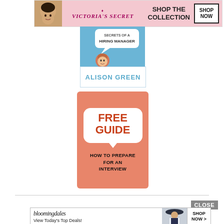[Figure (illustration): Victoria's Secret advertisement banner with a model's face on the left, VS logo in center, 'SHOP THE COLLECTION' text, and 'SHOP NOW' button]
[Figure (illustration): Book cover for a hiring manager book by Alison Green, with cartoon character peeking over speech bubble saying 'HIRING MANAGER', and 'ALISON GREEN' text at bottom]
[Figure (illustration): Free Guide promotional image on salmon/orange background with white rounded box containing 'FREE GUIDE' in red text and 'HOW TO PREPARE FOR AN INTERVIEW' below]
[Figure (illustration): Bloomingdale's advertisement banner with logo, 'View Today's Top Deals!' text, model with hat, and 'SHOP NOW >' button]